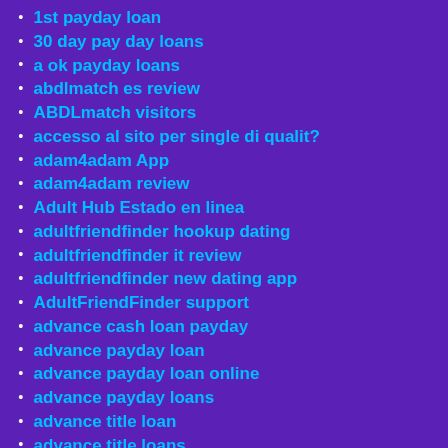1st payday loan
30 day pay day loans
a ok payday loans
abdlmatch es review
ABDLmatch visitors
accesso al sito per single di qualit?
adam4adam App
adam4adam review
Adult Hub Estado en linea
adultfriendfinder hookup dating
adultfriendfinder it review
adultfriendfinder new dating app
AdultFriendFinder support
advance cash loan payday
advance payday loan
advance payday loan online
advance payday loans
advance title loan
advance title loans
Adventist Dating apps
Adventist Dating services
adventist singles App
adventist singles reviews